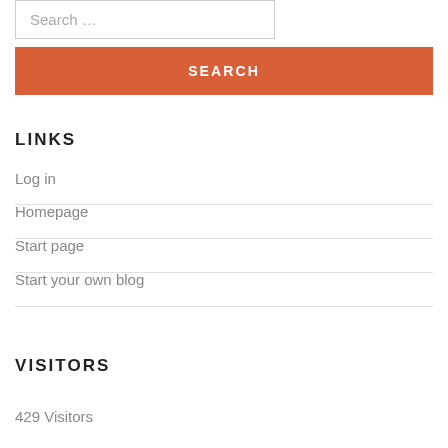Search …
SEARCH
LINKS
Log in
Homepage
Start page
Start your own blog
VISITORS
429 Visitors